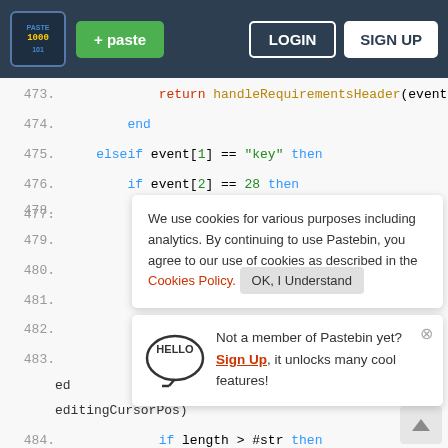Pastebin header with logo, +paste button, LOGIN, SIGN UP
[Figure (screenshot): Code editor showing Lua/scripting code lines 473-486 with syntax highlighting, cookie consent banner overlay, and sign-up popup overlay]
473.    return handleRequirementsHeader(event)
474.    end
475.    elseif event[1] == "key" then
476.        if event[2] == 28 then
477.            editingTable = nil
We use cookies for various purposes including analytics. By continuing to use Pastebin, you agree to our use of cookies as described in the Cookies Policy. OK, I Understand
Not a member of Pastebin yet? Sign Up, it unlocks many cool features!
484.    if length > #str then
485.        editingCursorPos =
math.max(editingCursorPos - 1, 1)